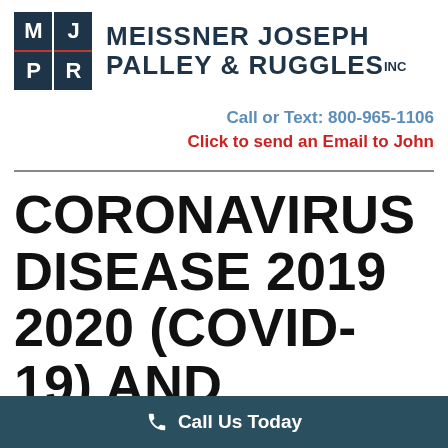[Figure (logo): Meissner Joseph Palley & Ruggles Inc law firm logo with dark blue square grid containing letters M, J, P, R and firm name in dark blue uppercase text]
Call or Text: 800-965-1106
Click to send an Email to John
CORONAVIRUS DISEASE 2019 2020 (COVID-19) AND CALIFORNIA PROBATE
Call Us Today